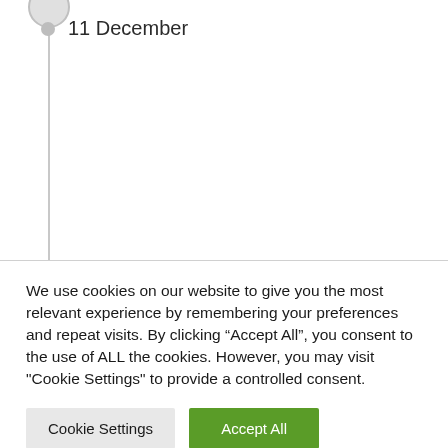11 December
We use cookies on our website to give you the most relevant experience by remembering your preferences and repeat visits. By clicking “Accept All”, you consent to the use of ALL the cookies. However, you may visit "Cookie Settings" to provide a controlled consent.
Cookie Settings
Accept All